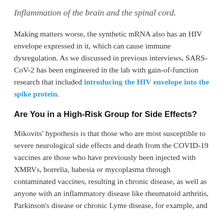Inflammation of the brain and the spinal cord.
Making matters worse, the synthetic mRNA also has an HIV envelope expressed in it, which can cause immune dysregulation. As we discussed in previous interviews, SARS-CoV-2 has been engineered in the lab with gain-of-function research that included introducing the HIV envelope into the spike protein.
Are You in a High-Risk Group for Side Effects?
Mikovits' hypothesis is that those who are most susceptible to severe neurological side effects and death from the COVID-19 vaccines are those who have previously been injected with XMRVs, borrelia, babesia or mycoplasma through contaminated vaccines, resulting in chronic disease, as well as anyone with an inflammatory disease like rheumatoid arthritis, Parkinson's disease or chronic Lyme disease, for example, and